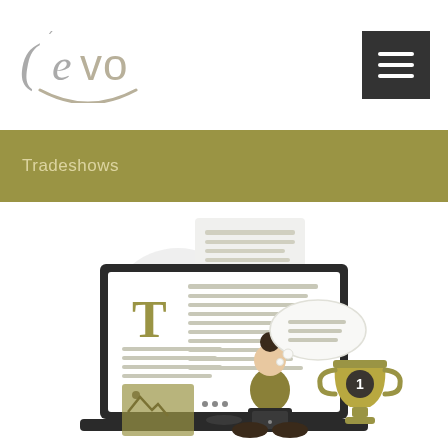[Figure (logo): Levo logo with parenthesis, accent mark over e, and olive/gold smile arc underneath]
[Figure (other): Black hamburger menu button (three horizontal white lines on dark background)]
Tradeshows
[Figure (illustration): Flat design illustration showing a laptop with a document/blog post on screen featuring a large T and image placeholder, a person sitting cross-legged working on a laptop with a thought bubble, background documents, and a trophy with number 1 badge, all in olive/gold and dark gray color scheme]